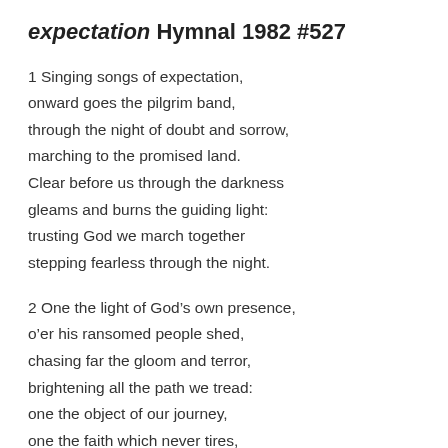expectation Hymnal 1982 #527
1 Singing songs of expectation,
onward goes the pilgrim band,
through the night of doubt and sorrow,
marching to the promised land.
Clear before us through the darkness
gleams and burns the guiding light:
trusting God we march together
stepping fearless through the night.
2 One the light of God’s own presence,
o’er his ransomed people shed,
chasing far the gloom and terror,
brightening all the path we tread:
one the object of our journey,
one the faith which never tires,
one the earnest looking forward,